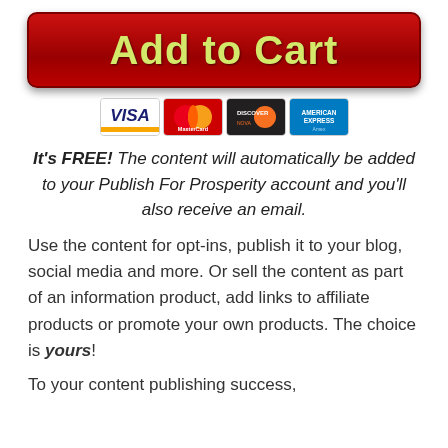[Figure (other): Red 'Add to Cart' button with yellow-green text]
[Figure (other): Payment card icons: Visa, MasterCard, Discover, American Express]
It's FREE! The content will automatically be added to your Publish For Prosperity account and you'll also receive an email.
Use the content for opt-ins, publish it to your blog, social media and more. Or sell the content as part of an information product, add links to affiliate products or promote your own products. The choice is yours!
To your content publishing success,